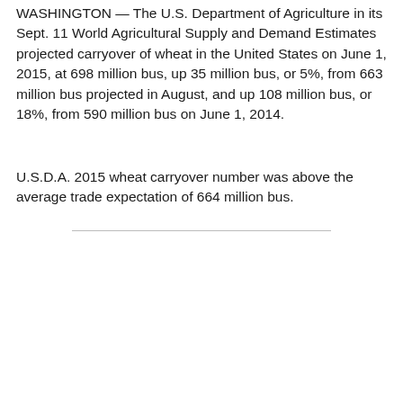WASHINGTON — The U.S. Department of Agriculture in its Sept. 11 World Agricultural Supply and Demand Estimates projected carryover of wheat in the United States on June 1, 2015, at 698 million bus, up 35 million bus, or 5%, from 663 million bus projected in August, and up 108 million bus, or 18%, from 590 million bus on June 1, 2014.
U.S.D.A. 2015 wheat carryover number was above the average trade expectation of 664 million bus.